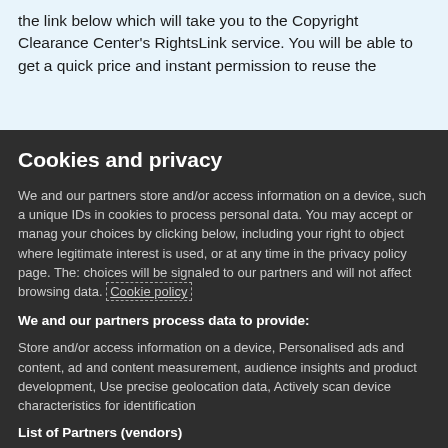the link below which will take you to the Copyright Clearance Center's RightsLink service. You will be able to get a quick price and instant permission to reuse the content in many different...
Cookies and privacy
We and our partners store and/or access information on a device, such as unique IDs in cookies to process personal data. You may accept or manage your choices by clicking below, including your right to object where legitimate interest is used, or at any time in the privacy policy page. These choices will be signaled to our partners and will not affect browsing data. Cookie policy
We and our partners process data to provide:
Store and/or access information on a device, Personalised ads and content, ad and content measurement, audience insights and product development, Use precise geolocation data, Actively scan device characteristics for identification
List of Partners (vendors)
I Accept